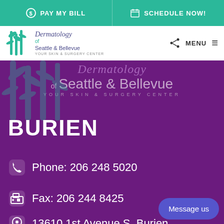PAY MY BILL   SCHEDULE NOW!
[Figure (logo): Dermatology of Seattle & Bellevue — Your Skin & Surgery Center logo with bamboo graphic, shown in nav bar and hero watermark]
MENU
BURIEN
Phone: 206 248 5020
Fax: 206 244 8425
13610 1st Avenue S. Burien,
Message us